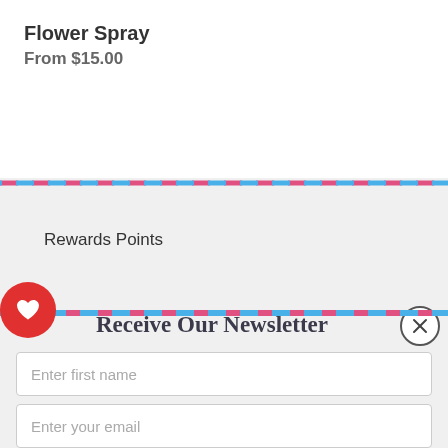Flower Spray
From $15.00
Rewards Points
Receive Our Newsletter
Enter first name
Enter your email
Subscribe